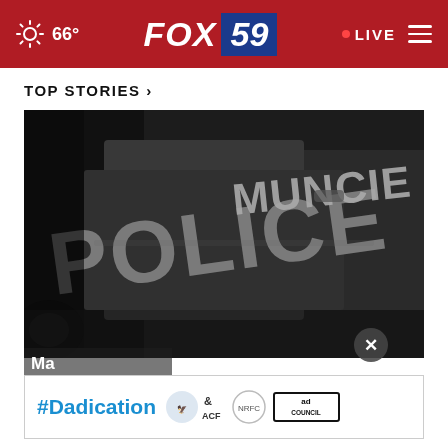66° FOX 59 · LIVE
TOP STORIES ›
[Figure (photo): Close-up black and white photo of a Muncie Police vehicle door, showing the letters 'POLICE' and 'MUNCIE' in large block letters on the side of the car.]
Ma... sho...
[Figure (infographic): Advertisement banner for #Dadication campaign featuring HHS, ACF, National Responsible Fatherhood Clearinghouse logos and Ad Council logo.]